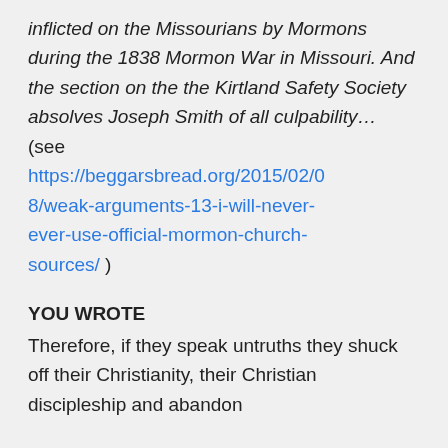inflicted on the Missourians by Mormons during the 1838 Mormon War in Missouri. And the section on the the Kirtland Safety Society absolves Joseph Smith of all culpability… (see https://beggarsbread.org/2015/02/08/weak-arguments-13-i-will-never-ever-use-official-mormon-church-sources/ )
YOU WROTE
Therefore, if they speak untruths they shuck off their Christianity, their Christian discipleship and abandon